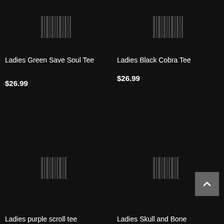[Figure (illustration): Barcode/scanning icon top left, dark background]
Ladies Green Save Soul Tee
$26.99
[Figure (illustration): Barcode/scanning icon top right, dark background]
Ladies Black Cobra Tee
$26.99
[Figure (illustration): Barcode/scanning icon bottom left, dark background]
[Figure (illustration): Barcode/scanning icon bottom right, dark background]
Ladies purple scroll tee
Ladies Skull and Bone